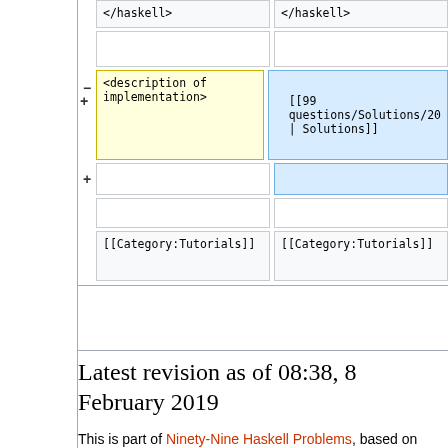[Figure (screenshot): Wikipedia diff view showing two columns of wikitext. Row 1: both cells show '</haskell>'. Row 2: empty cells. Row 3 (diff): left cell (deletion, yellow) shows '<description of implementation>', right cell (addition, blue) shows '[[99 questions/Solutions/20 | Solutions]]'. Row 4: right cell (addition, blue) is empty. Row 5: both cells empty. Row 6: both cells show '[[Category:Tutorials]]'.]
Latest revision as of 08:38, 8 February 2019
This is part of Ninety-Nine Haskell Problems, based on Ninety-Nine Prolog Problems and Ninety-Nine Lisp...